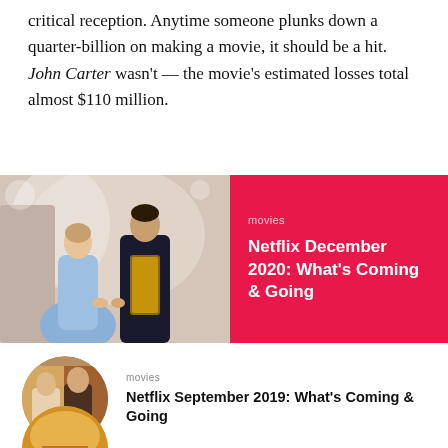critical reception. Anytime someone plunks down a quarter-billion on making a movie, it should be a hit. John Carter wasn't — the movie's estimated losses total almost $110 million.
[Figure (photo): Movie scene with a woman in a blue ball gown and a man in formal attire holding hands at a formal event]
movies
Netflix December 2020: What's Coming & Going
[Figure (photo): Circular thumbnail of a movie scene with two people, man and woman, appearing to be in conversation in a warmly lit interior setting]
movies
Netflix September 2019: What's Coming & Going
[Figure (photo): Circular thumbnail partially visible at the bottom of the page, warm orange/golden tones]